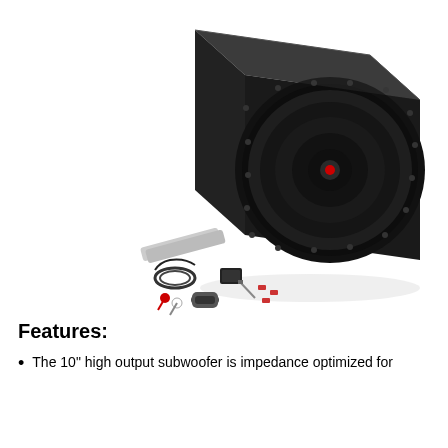[Figure (photo): A Rockford Fosgate powered subwoofer enclosure (black box with 10-inch woofer and mesh grille) shown in an isometric view, with accessories laid out in front including RCA cables, wiring harness, fuse holder, and small hardware components.]
Features:
The 10" high output subwoofer is impedance optimized for